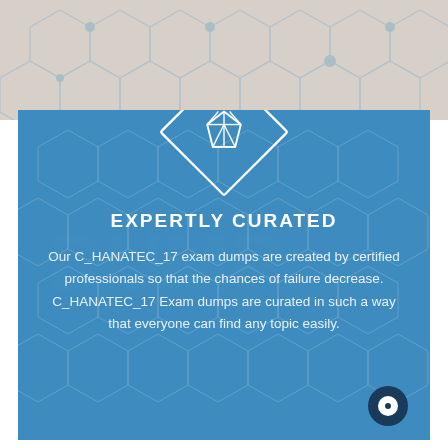[Figure (illustration): Top background area with hexagonal molecule/network pattern in gray/beige tones]
[Figure (illustration): Blue promotional card with diamond gem icon inside a rotated square outline, hexagonal background pattern overlay]
EXPERTLY CURATED
Our C_HANATEC_17 exam dumps are created by certified professionals so that the chances of failure decrease. C_HANATEC_17 Exam dumps are curated in such a way that everyone can find any topic easily.